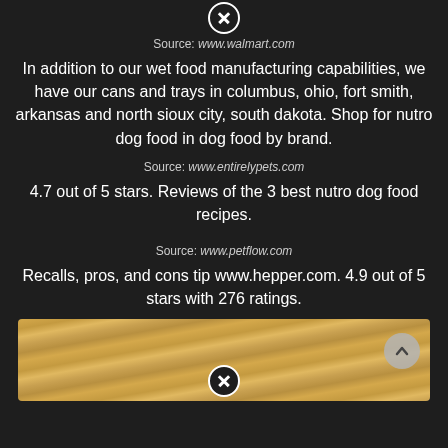Source: www.walmart.com
In addition to our wet food manufacturing capabilities, we have our cans and trays in columbus, ohio, fort smith, arkansas and north sioux city, south dakota. Shop for nutro dog food in dog food by brand.
Source: www.entirelypets.com
4.7 out of 5 stars. Reviews of the 3 best nutro dog food recipes.
Source: www.petflow.com
Recalls, pros, and cons tip www.hepper.com. 4.9 out of 5 stars with 276 ratings.
[Figure (photo): Close-up photo of dog food or kibble texture with golden/tan wavy striped pattern, with a scroll-up button overlay and a close button at the bottom.]